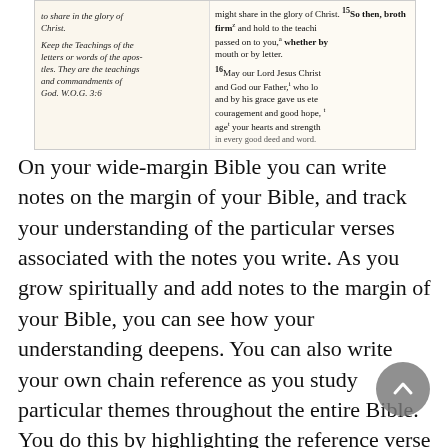[Figure (photo): Photograph of an open wide-margin Bible showing handwritten notes in the left margin (cursive, including text about 'Keep the Teachings of the letters or words of the apostles. They are the teachings and commandments of God. W.O.G. 3:6') and printed Bible text on the right side including 2 Thessalonians passages about sharing in the glory of Jesus Christ, firm teachings, and a blessing from the Lord.]
On your wide-margin Bible you can write notes on the margin of your Bible, and track your understanding of the particular verses associated with the notes you write. As you grow spiritually and add notes to the margin of your Bible, you can see how your understanding deepens. You can also write your own chain reference as you study particular themes throughout the entire Bible. You do this by highlighting the reference verse and then on the margin you add the next passage in the chain, and so on. In the example below you can see an annotation and the next link to the Word of God (W.O.G.) study, 2Thess 3:6. You can also add your own comments, or